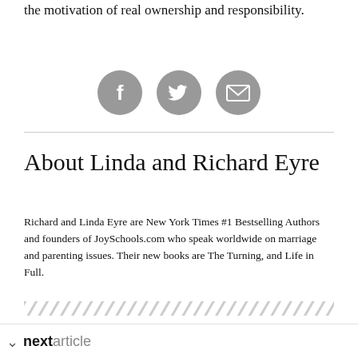the motivation of real ownership and responsibility.
[Figure (infographic): Three circular grey social share icons: Facebook, Twitter, and Email/envelope]
About Linda and Richard Eyre
Richard and Linda Eyre are New York Times #1 Bestselling Authors and founders of JoySchools.com who speak worldwide on marriage and parenting issues. Their new books are The Turning, and Life in Full.
[Figure (illustration): Hatched diagonal stripe decorative bar]
next article